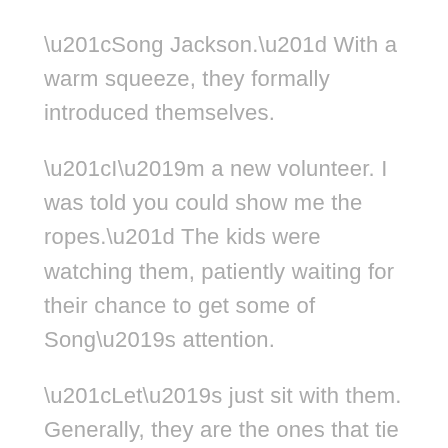“Song Jackson.” With a warm squeeze, they formally introduced themselves.
“I’m a new volunteer. I was told you could show me the ropes.” The kids were watching them, patiently waiting for their chance to get some of Song’s attention.
“Let’s just sit with them. Generally, they are the ones that tie the ropes.” Within minutes, Lei had charmed the kids with her overzealous laugh, easily